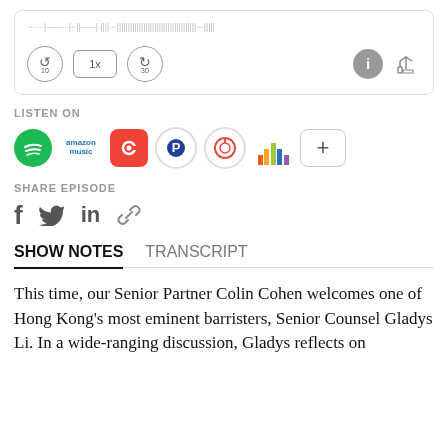[Figure (screenshot): Audio player with waveform and playback controls (rewind 10s, 1x speed, forward 30s, info, share icons)]
LISTEN ON
[Figure (infographic): Podcast platform icons: Spotify, Amazon Music, Pocket Casts, Pandora, Castro, Deezer, and a + more button]
SHARE EPISODE
[Figure (infographic): Social sharing icons: Facebook, Twitter, LinkedIn, link/copy]
SHOW NOTES    TRANSCRIPT
This time, our Senior Partner Colin Cohen welcomes one of Hong Kong's most eminent barristers, Senior Counsel Gladys Li. In a wide-ranging discussion, Gladys reflects on